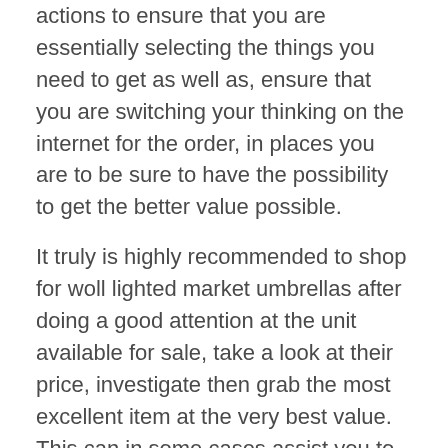actions to ensure that you are essentially selecting the things you need to get as well as, ensure that you are switching your thinking on the internet for the order, in places you are to be sure to have the possibility to get the better value possible.
It truly is highly recommended to shop for woll lighted market umbrellas after doing a good attention at the unit available for sale, take a look at their price, investigate then grab the most excellent item at the very best value. This can in some cases assist you to in buying the appropriate patio umbrellas for your place to make it more lively, or even beautify it with the perfect furnishings and decors to allow it to be a place to be loved